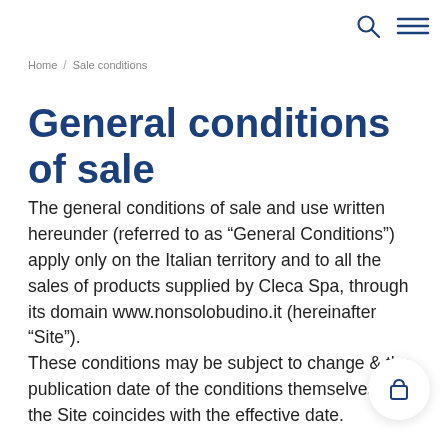Search | Menu
Home / Sale conditions
General conditions of sale
The general conditions of sale and use written hereunder (referred to as “General Conditions”) apply only on the Italian territory and to all the sales of products supplied by Cleca Spa, through its domain www.nonsolobudino.it (hereinafter “Site”).
These conditions may be subject to change and the publication date of the conditions themselves on the Site coincides with the effective date.